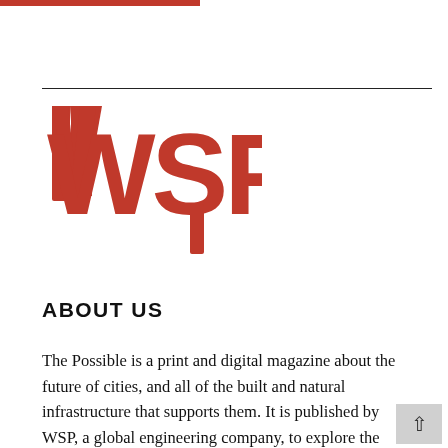[Figure (logo): WSP logo in large red stylized text]
ABOUT US
The Possible is a print and digital magazine about the future of cities, and all of the built and natural infrastructure that supports them. It is published by WSP, a global engineering company, to explore the ideas and innovations that could help create better functioning, healthier, more sustainable